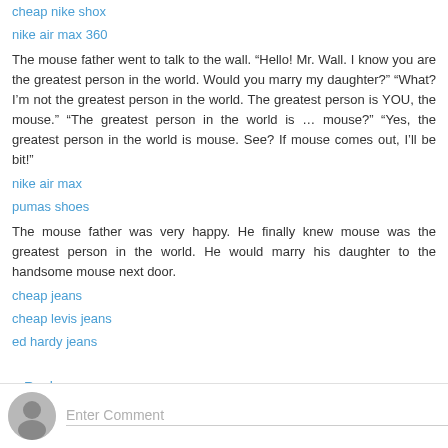cheap nike shox
nike air max 360
The mouse father went to talk to the wall. “Hello! Mr. Wall. I know you are the greatest person in the world. Would you marry my daughter?” “What? I’m not the greatest person in the world. The greatest person is YOU, the mouse.” “The greatest person in the world is … mouse?” “Yes, the greatest person in the world is mouse. See? If mouse comes out, I’ll be bit!”
nike air max
pumas shoes
The mouse father was very happy. He finally knew mouse was the greatest person in the world. He would marry his daughter to the handsome mouse next door.
cheap jeans
cheap levis jeans
ed hardy jeans
Reply
Enter Comment